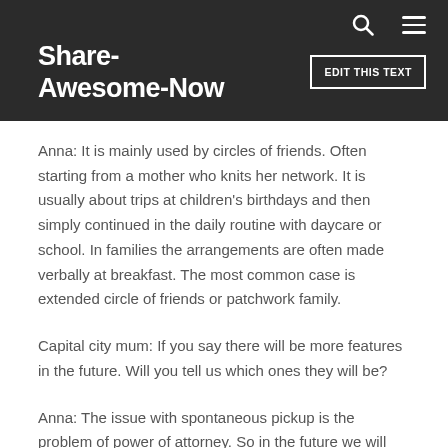Share-Awesome-Now
Anna: It is mainly used by circles of friends. Often starting from a mother who knits her network. It is usually about trips at children's birthdays and then simply continued in the daily routine with daycare or school. In families the arrangements are often made verbally at breakfast. The most common case is extended circle of friends or patchwork family.
Capital city mum: If you say there will be more features in the future. Will you tell us which ones they will be?
Anna: The issue with spontaneous pickup is the problem of power of attorney. So in the future we will give the possibility to create powers of attorney...